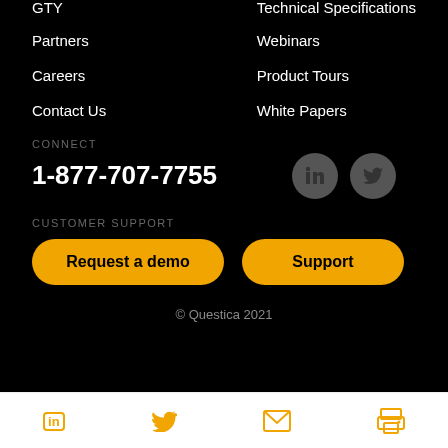GTY
Technical Specifications
Partners
Webinars
Careers
Product Tours
Contact Us
White Papers
CONNECT
1-877-707-7755
[Figure (logo): LinkedIn and Twitter circular social media icons in grey on black background]
CUSTOMER SUPPORT
Request a demo
Support
© Questica 2021
[Figure (infographic): Bottom navigation bar with LinkedIn, Twitter, email, and print icons in orange on white background]